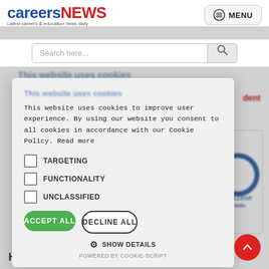careersNEWS | Latest careers & education news daily | MENU
Search here...
This website uses cookies to improve user experience. By using our website you consent to all cookies in accordance with our Cookie Policy. Read more
TARGETING
FUNCTIONALITY
UNCLASSIFIED
ACCEPT ALL
DECLINE ALL
SHOW DETAILS
POWERED BY COOKIE-SCRIPT
HIGHER EDUCATION